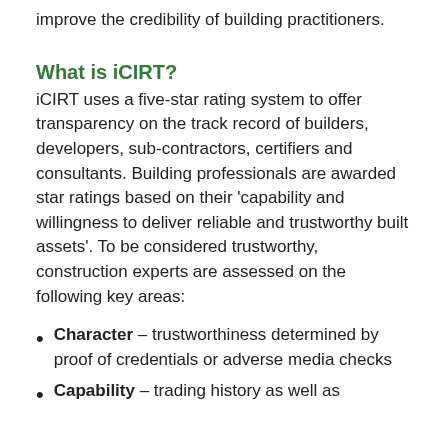improve the credibility of building practitioners.
What is iCIRT?
iCIRT uses a five-star rating system to offer transparency on the track record of builders, developers, sub-contractors, certifiers and consultants. Building professionals are awarded star ratings based on their 'capability and willingness to deliver reliable and trustworthy built assets'. To be considered trustworthy, construction experts are assessed on the following key areas:
Character – trustworthiness determined by proof of credentials or adverse media checks
Capability – trading history as well as